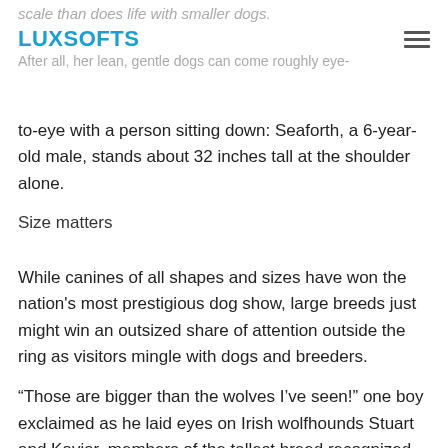scale than does life with smaller dogs.
LUXSOFTS
After all, her lean, gentle dogs can come roughly eye-to-eye with a person sitting down: Seaforth, a 6-year-old male, stands about 32 inches tall at the shoulder alone.
to-eye with a person sitting down: Seaforth, a 6-year-old male, stands about 32 inches tall at the shoulder alone.
Size matters
While canines of all shapes and sizes have won the nation's most prestigious dog show, large breeds just might win an outsized share of attention outside the ring as visitors mingle with dogs and breeders.
“Those are bigger than the wolves I’ve seen!” one boy exclaimed as he laid eyes on Irish wolfhounds Stuart and Kaviar, members of the tallest breed recognized by